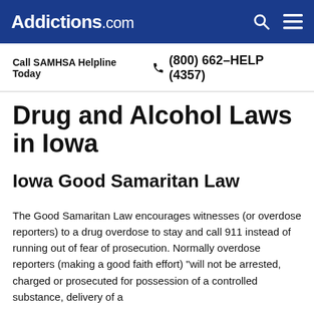Addictions.com
Call SAMHSA Helpline Today  (800) 662-HELP (4357)
Drug and Alcohol Laws in Iowa
Iowa Good Samaritan Law
The Good Samaritan Law encourages witnesses (or overdose reporters) to a drug overdose to stay and call 911 instead of running out of fear of prosecution. Normally overdose reporters (making a good faith effort) “will not be arrested, charged or prosecuted for possession of a controlled substance, delivery of a